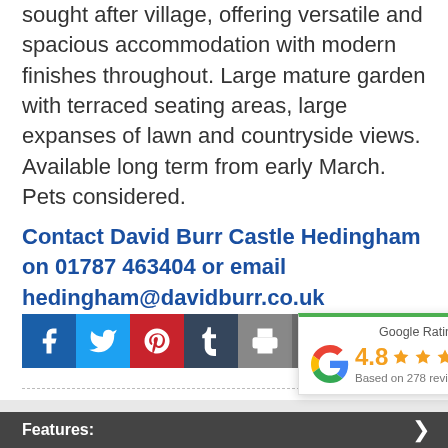sought after village, offering versatile and spacious accommodation with modern finishes throughout. Large mature garden with terraced seating areas, large expanses of lawn and countryside views. Available long term from early March. Pets considered.
Contact David Burr Castle Hedingham on 01787 463404 or email hedingham@davidburr.co.uk
[Figure (other): Social media sharing buttons: Facebook, Twitter, Pinterest, Tumblr, Print, Email]
[Figure (other): Google Rating widget showing 4.8 stars based on 278 reviews]
Features: